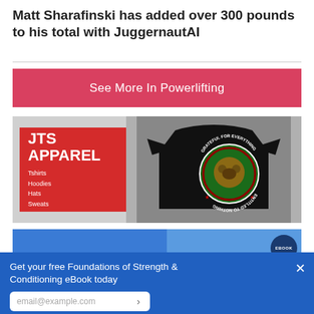Matt Sharafinski has added over 300 pounds to his total with JuggernautAI
See More In Powerlifting
[Figure (illustration): JTS Apparel advertisement banner showing a red box with 'JTS APPAREL' text listing Tshirts, Hoodies, Hats, Sweats, next to a black t-shirt with a bear graphic reading 'Grateful For Everything, Entitled To Nothing']
[Figure (photo): Partial blue banner showing a person and an ebook graphic]
Get your free Foundations of Strength & Conditioning eBook today
email@example.com